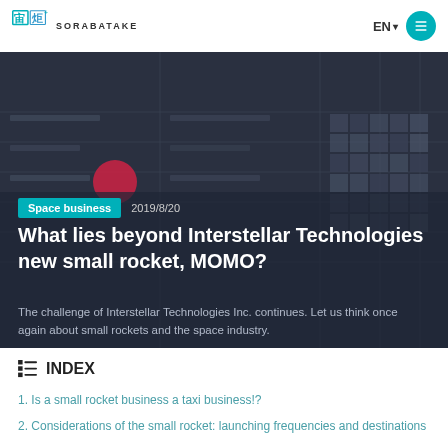宙炬 SORABATAKE — EN
[Figure (screenshot): Dark background hero image showing a table/spreadsheet with data rows and pixel-block patterns on a dark blue-gray background]
Space business   2019/8/20
What lies beyond Interstellar Technologies new small rocket, MOMO?
The challenge of Interstellar Technologies Inc. continues. Let us think once again about small rockets and the space industry.
INDEX
1. Is a small rocket business a taxi business!?
2. Considerations of the small rocket: launching frequencies and destinations